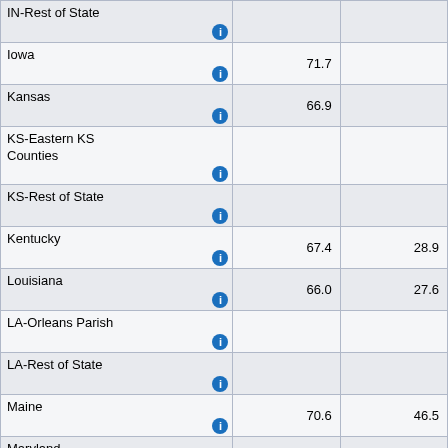| Location | Col2 | Col3 |
| --- | --- | --- |
| IN-Rest of State |  |  |
| Iowa | 71.7 |  |
| Kansas | 66.9 |  |
| KS-Eastern KS Counties |  |  |
| KS-Rest of State |  |  |
| Kentucky | 67.4 | 28.9 |
| Louisiana | 66.0 | 27.6 |
| LA-Orleans Parish |  |  |
| LA-Rest of State |  |  |
| Maine | 70.6 | 46.5 |
| Maryland | 55.1 | 32.7 |
| MD-City of Baltimore |  |  |
| MD-Prince George's County |  |  |
| MD-Rest of State | 55.1 | 32.7 |
| Massachusetts | 59.9 | 31.6 |
| MA-City of Boston |  |  |